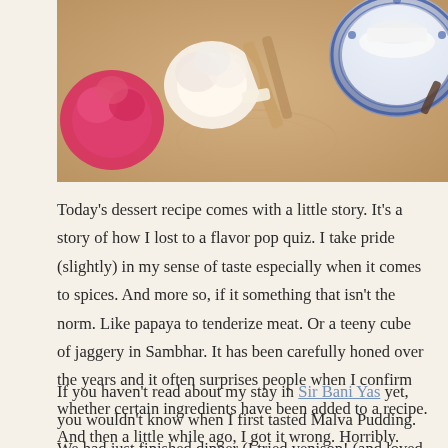[Figure (photo): A styled table setting photograph showing flowers (pink dahlia, white roses), a decorative blue and white plate, and warm golden tones in the background.]
Today's dessert recipe comes with a little story. It's a story of how I lost to a flavor pop quiz. I take pride (slightly) in my sense of taste especially when it comes to spices. And more so, if it something that isn't the norm. Like papaya to tenderize meat. Or a teeny cube of jaggery in Sambhar. It has been carefully honed over the years and it often surprises people when I confirm whether certain ingredients have been added to a recipe. And then a little while ago, I got it wrong. Horribly. Horribly because my guess was no where close to the answer. In fact, it was something I had never tasted before!
If you haven't read about my stay in Sir Bani Yas yet, you wouldn't know when I first tasted Malva Pudding. We had just finished dinner (I tried venison! (and loved it)) at Savannah Grill & Lounge and I'm